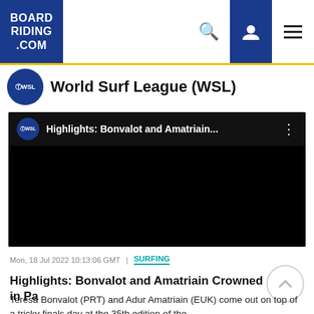BOARD RIDING .COM
World Surf League (WSL)
[Figure (screenshot): Embedded WSL YouTube video player showing 'Highlights: Bonvalot and Amatriain...' with black video area]
Mon, 18 Jul 2022 10:13:06 GMT | SURFING
Highlights: Bonvalot and Amatriain Crowned in Pa
Teresa Bonvalot (PRT) and Adur Amatriain (EUK) come out on top of a tricky finals day at the 35th edition of the